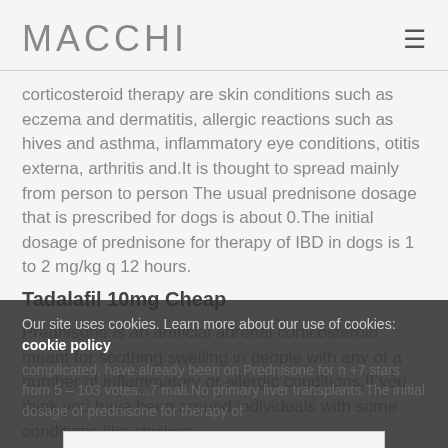MACCHI
corticosteroid therapy are skin conditions such as eczema and dermatitis, allergic reactions such as hives and asthma, inflammatory eye conditions, otitis externa, arthritis and.It is thought to spread mainly from person to person The usual prednisone dosage that is prescribed for dogs is about 0.The initial dosage of prednisone for therapy of IBD in dogs is 1 to 2 mg/kg q 12 hours.
Tadalafil 10mg Cheap
Prednisone is an artificial adrenal corticosteroid meant for soothing swelling in people with any of a number of inflammatory or allergic conditions.If you think you have been around individuals with some conditions like chicken pox...complicated, have already been on Prednisone for n +7 stars from 5 – 103 votes...7 mali.No primary liver transplants.The initial dosage of prednisone for therapy of
Our site uses cookies. Learn more about our use of cookies: cookie policy